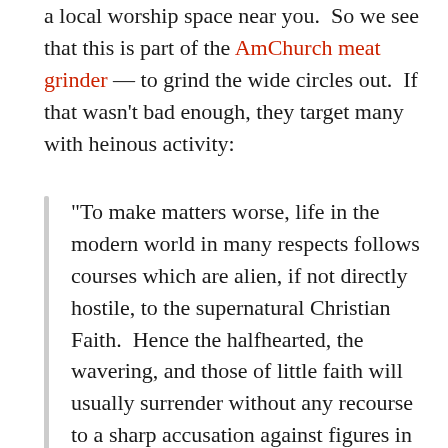a local worship space near you.  So we see that this is part of the AmChurch meat grinder — to grind the wide circles out.  If that wasn't bad enough, they target many with heinous activity:
“To make matters worse, life in the modern world in many respects follows courses which are alien, if not directly hostile, to the supernatural Christian Faith.  Hence the halfhearted, the wavering, and those of little faith will usually surrender without any recourse to a sharp accusation against figures in the Church or a thoughtless criticism within the Church of institutions which exist and are tolerated here and there.  The last loose spiritual tie still binding them to the Church is broken.  They feel obliged to condemn every aspect of Catholic devoutness…”